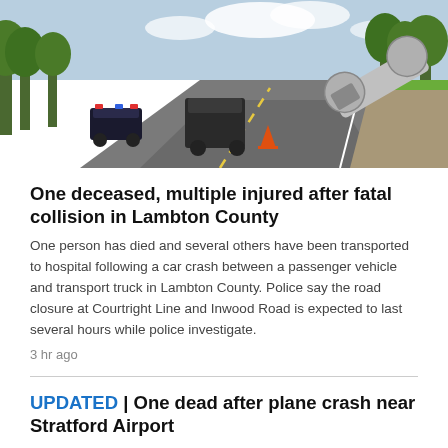[Figure (photo): Road scene showing a highway with police vehicles, a dark SUV, and an overturned transport truck in the ditch on the right side, trees lining the road, blue sky with clouds in background.]
One deceased, multiple injured after fatal collision in Lambton County
One person has died and several others have been transported to hospital following a car crash between a passenger vehicle and transport truck in Lambton County. Police say the road closure at Courtright Line and Inwood Road is expected to last several hours while police investigate.
3 hr ago
UPDATED | One dead after plane crash near Stratford Airport